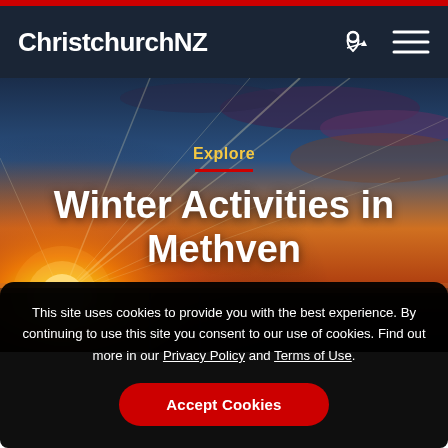ChristchurchNZ
[Figure (photo): Aerial sunset landscape photo with warm golden-orange sky, sun rays bursting from lower left, dramatic clouds, and a flat town/plains landscape in the lower portion]
Explore
Winter Activities in Methven
This site uses cookies to provide you with the best experience. By continuing to use this site you consent to our use of cookies. Find out more in our Privacy Policy and Terms of Use.
Accept Cookies